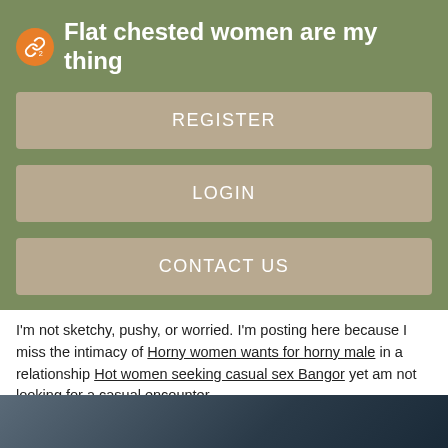Flat chested women are my thing
REGISTER
LOGIN
CONTACT US
I'm not sketchy, pushy, or worried. I'm posting here because I miss the intimacy of Horny women wants for horny male in a relationship Hot women seeking casual sex Bangor yet am not looking for a casual encounter.
Foreplay will not be overlooked and hundreds of curves of yours will obtain the attention they merit. Its amazing how it works.
[Figure (photo): Dark image strip at the bottom of the page, showing a dark grey/blue toned background]